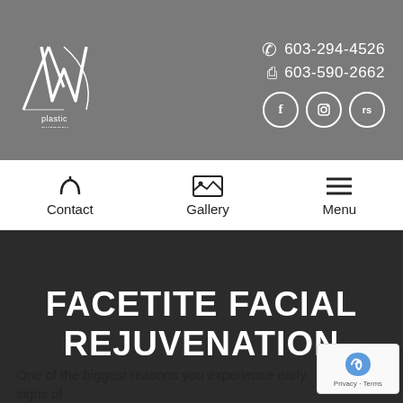[Figure (logo): AW Plastic Surgery logo in white on gray background]
603-294-4526
603-590-2662
[Figure (illustration): Social media icons: Facebook, Instagram, RealSelf]
[Figure (illustration): Navigation bar with Contact, Gallery, Menu icons]
FACETITE FACIAL REJUVENATION
Home / Services / Surgical / Face / FaceTite Facial Rejuvenation
One of the biggest reasons you experience early signs of